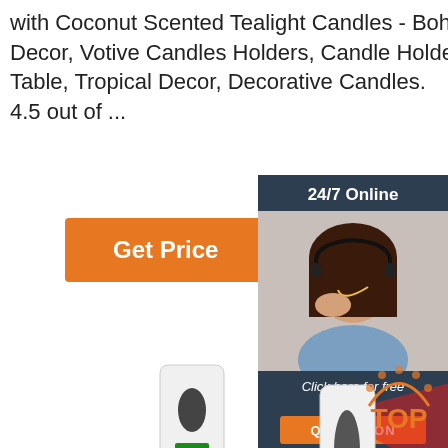with Coconut Scented Tealight Candles - Boho Decor, Votive Candles Holders, Candle Holders for Table, Tropical Decor, Decorative Candles. 4.5 out of ...
Get Price
[Figure (photo): Customer support representative woman wearing headset smiling, with 24/7 Online header, Click here for free chat text, and QUOTATION orange button on dark blue background widget]
[Figure (photo): Automatic hand sanitizer dispenser on a stand pole and a thermometer dispenser device emitting red laser beam, with AUTOMATIC DISPENSER label and digital display showing 36.5]
[Figure (logo): TOP badge logo in orange with dots around arc]